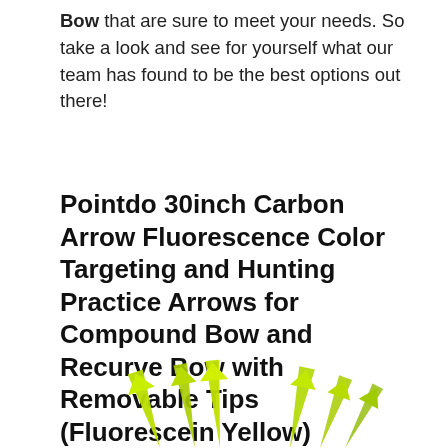Bow that are sure to meet your needs. So take a look and see for yourself what our team has found to be the best options out there!
Pointdo 30inch Carbon Arrow Fluorescence Color Targeting and Hunting Practice Arrows for Compound Bow and Recurve Bow with Removable Tips (Fluorescein Yellow)
[Figure (photo): Partial image of fluorescent yellow arrows at the bottom of the page]